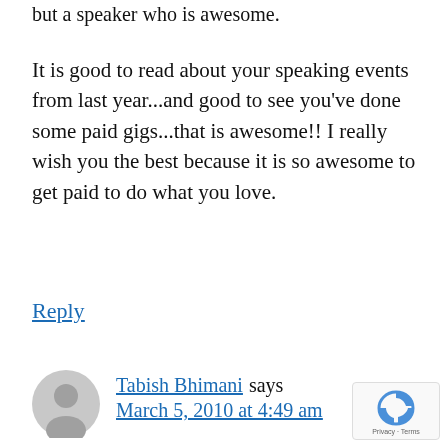but a speaker who is awesome.
It is good to read about your speaking events from last year...and good to see you've done some paid gigs...that is awesome!! I really wish you the best because it is so awesome to get paid to do what you love.
Reply
Tabish Bhimani says March 5, 2010 at 4:49 am